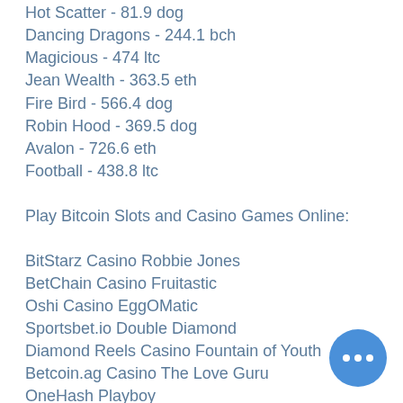Hot Scatter - 81.9 dog
Dancing Dragons - 244.1 bch
Magicious - 474 ltc
Jean Wealth - 363.5 eth
Fire Bird - 566.4 dog
Robin Hood - 369.5 dog
Avalon - 726.6 eth
Football - 438.8 ltc
Play Bitcoin Slots and Casino Games Online:
BitStarz Casino Robbie Jones
BetChain Casino Fruitastic
Oshi Casino EggOMatic
Sportsbet.io Double Diamond
Diamond Reels Casino Fountain of Youth
Betcoin.ag Casino The Love Guru
OneHash Playboy
Bitcasino.io Gift Shop
Sportsbet.io Wild Cherries
Cloudbet Casino Jackpot 6000